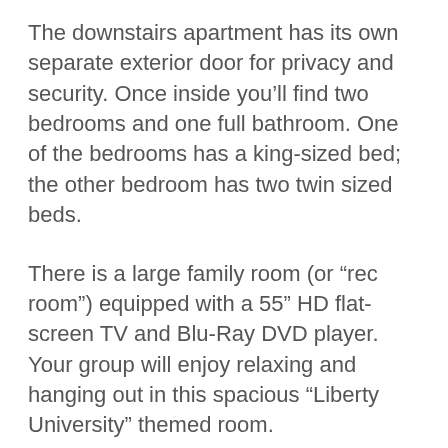The downstairs apartment has its own separate exterior door for privacy and security. Once inside you'll find two bedrooms and one full bathroom. One of the bedrooms has a king-sized bed; the other bedroom has two twin sized beds.
There is a large family room (or “rec room”) equipped with a 55” HD flat-screen TV and Blu-Ray DVD player. Your group will enjoy relaxing and hanging out in this spacious “Liberty University” themed room.
NOTE: This house includes a basic cable package. If you want to watch premium channels, you can purchase the “Hover Point…